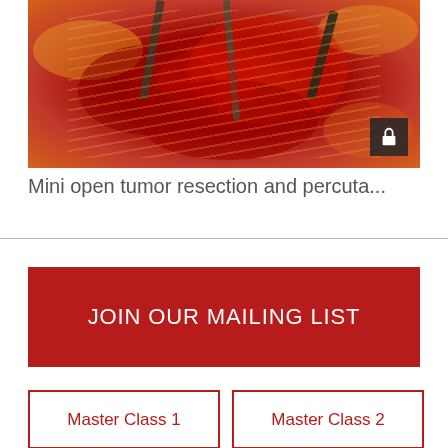[Figure (photo): Surgical photograph showing mini open tumor resection procedure with red tissue and metal surgical instruments, with a lock icon overlay in the bottom right corner]
Mini open tumor resection and percuta...
JOIN OUR MAILING LIST
Master Class 1
Master Class 2